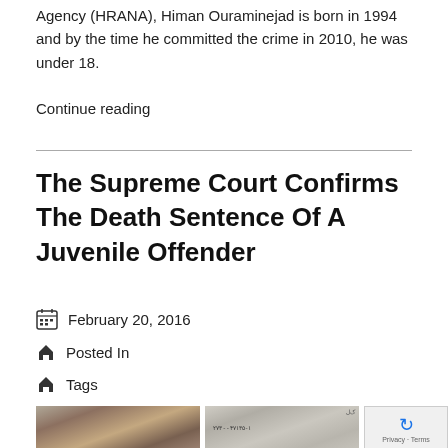Agency (HRANA), Himan Ouraminejad is born in 1994 and by the time he committed the crime in 2010, he was under 18.
Continue reading
The Supreme Court Confirms The Death Sentence Of A Juvenile Offender
February 20, 2016
Posted In
Tags
[Figure (photo): Two photos: left shows a close-up of a young man's face; right shows a young man with an official Iranian document bearing Farsi text and numbers.]